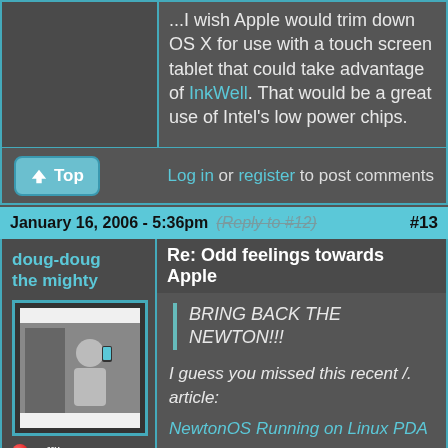...I wish Apple would trim down OS X for use with a touch screen tablet that could take advantage of InkWell. That would be a great use of Intel's low power chips.
Log in or register to post comments
January 16, 2006 - 5:36pm (Reply to #12) #13
doug-doug the mighty
[Figure (photo): User avatar showing a person taking a selfie in a bathroom mirror]
Offline
Last seen: 2 weeks 6 days ago
Joined: Apr 14 2004 - 17:52
Posts: 1387
Re: Odd feelings towards Apple
BRING BACK THE NEWTON!!!
I guess you missed this recent /. article:
NewtonOS Running on Linux PDA
IMO, though no doubt the Newton was great, its OS is really